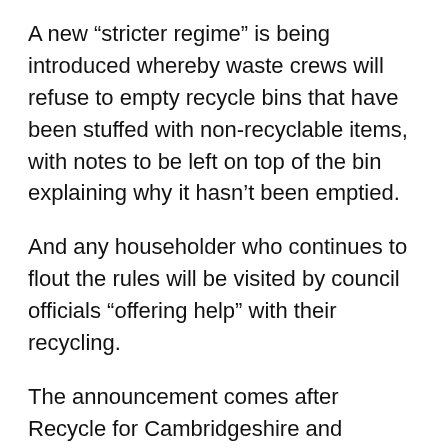A new “stricter regime” is being introduced whereby waste crews will refuse to empty recycle bins that have been stuffed with non-recyclable items, with notes to be left on top of the bin explaining why it hasn’t been emptied.
And any householder who continues to flout the rules will be visited by council officials “offering help” with their recycling.
The announcement comes after Recycle for Cambridgeshire and Peterborough, a partnership of councils, reported that refuse crews had discovered plastic bags, clothes and even a toasted sandwich maker during the course of their weekly collections.
Putting erroneous items into recycle bins costs the public purse more than £200,000, according to the partnership.